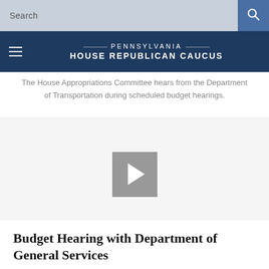Search
PENNSYLVANIA HOUSE REPUBLICAN CAUCUS
The House Appropriations Committee hears from the Department of Transportation during scheduled budget hearings.
[Figure (other): Video player with gray play button on white/light gray background]
Budget Hearing with Department of General Services